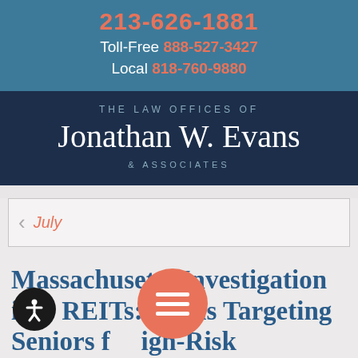213-626-1881
Toll-Free 888-527-3427
Local 818-760-9880
THE LAW OFFICES OF Jonathan W. Evans & ASSOCIATES
July
Massachusetts Investigation into REITs: Firms Targeting Seniors for High-Risk Products